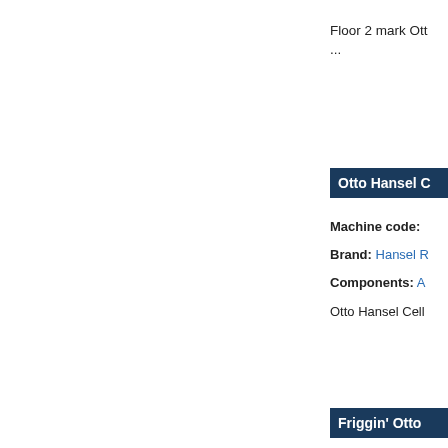Floor 2 mark Ott
...
Otto Hansel C
Machine code:
Brand: Hansel R
Components: A
Otto Hansel Cell
Friggin' Otto